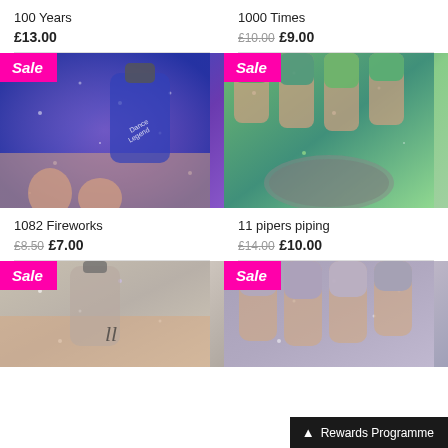100 Years
£13.00
1000 Times
£10.00 £9.00
[Figure (photo): Hand holding a blue/purple glitter nail polish bottle by Dance Legend, with purple glitter nails. Sale badge.]
[Figure (photo): Hand showing green holographic nail polish with a round compact tin visible. Sale badge.]
1082 Fireworks
£8.50 £7.00
11 pipers piping
£14.00 £10.00
[Figure (photo): Hand holding silver holographic glitter nail polish bottle, nails painted silver holographic. Sale badge.]
[Figure (photo): Four fingers showing silver/purple holographic glitter nail polish. Sale badge.]
Rewards Programme